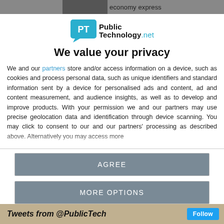economy express
[Figure (logo): PublicTechnology.net logo with blue speech-bubble icon containing 'PT' and text 'Public Technology.net']
We value your privacy
We and our partners store and/or access information on a device, such as cookies and process personal data, such as unique identifiers and standard information sent by a device for personalised ads and content, ad and content measurement, and audience insights, as well as to develop and improve products. With your permission we and our partners may use precise geolocation data and identification through device scanning. You may click to consent to our and our partners' processing as described above. Alternatively you may access more detailed information...
AGREE
MORE OPTIONS
Tweets from @PublicTech  Follow